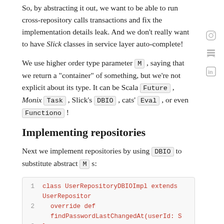So, by abstracting it out, we want to be able to run cross-repository calls transactions and fix the implementation details leak. And we don't really want to have Slick classes in service layer auto-complete!
We use higher order type parameter M , saying that we return a "container" of something, but we're not explicit about its type. It can be Scala Future , Monix Task , Slick's DBIO , cats' Eval , or even Functiono !
Implementing repositories
Next we implement repositories by using DBIO to substitute abstract M s:
[Figure (screenshot): Code block showing: 1  class UserRepositoryDBIOImpl extends UserRepositor  2    override def findPasswordLastChangedAt(userId: S  3  }]